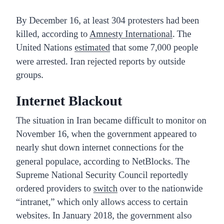By December 16, at least 304 protesters had been killed, according to Amnesty International. The United Nations estimated that some 7,000 people were arrested. Iran rejected reports by outside groups.
Internet Blackout
The situation in Iran became difficult to monitor on November 16, when the government appeared to nearly shut down internet connections for the general populace, according to NetBlocks. The Supreme National Security Council reportedly ordered providers to switch over to the nationwide “intranet,” which only allows access to certain websites. In January 2018, the government also shut down the internet for a day or two during protests sparked by economic woes. The new protests appeared to be the most serious since the sporadic demonstrations in December